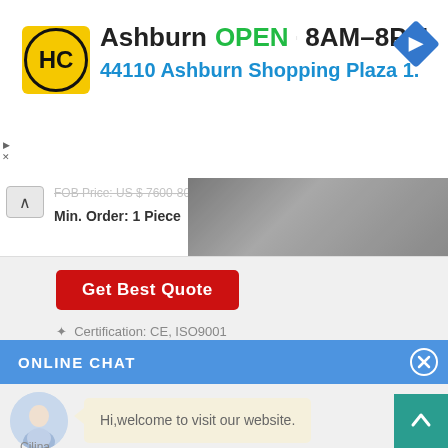[Figure (screenshot): Advertisement banner for HC store in Ashburn. Logo with HC in yellow circle, text: Ashburn OPEN 8AM-8PM, 44110 Ashburn Shopping Plaza 1., navigation diamond icon.]
FOB Price: US $ 7600-800 / Piece
Min. Order: 1 Piece
Get Best Quote
Certification: CE, ISO9001
ONLINE CHAT
Hi,welcome to visit our website.
Cilina
How can I help you today?
Cilina